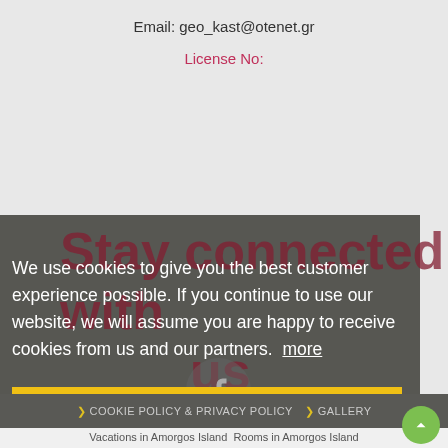Email: geo_kast@otenet.gr
License No:
Stay connected with us
We use cookies to give you the best customer experience possible. If you continue to use our website, we will assume you are happy to receive cookies from us and our partners.  more
Accept
COOKIE POLICY & PRIVACY POLICY   GALLERY
Vacations in Amorgos Island  Rooms in Amorgos Island